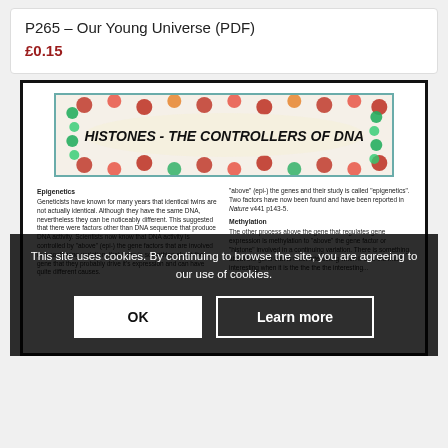P265 – Our Young Universe (PDF)
£0.15
[Figure (screenshot): Preview of a document page showing a DNA double-helix banner image with text 'HISTONES - THE CONTROLLERS OF DNA', followed by two-column text about Epigenetics.]
This site uses cookies. By continuing to browse the site, you are agreeing to our use of cookies.